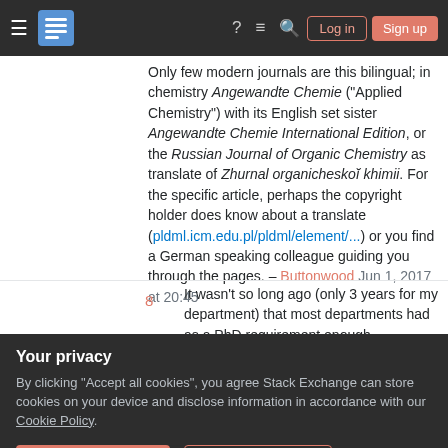Stack Exchange navigation bar with hamburger menu, logo, help, chat, search icons, Log in and Sign up buttons
Only few modern journals are this bilingual; in chemistry Angewandte Chemie ("Applied Chemistry") with its English set sister Angewandte Chemie International Edition, or the Russian Journal of Organic Chemistry as translate of Zhurnal organicheskoĭ khimii. For the specific article, perhaps the copyright holder does know about a translate (pldml.icm.edu.pl/pldml/element/...) or you find a German speaking colleague guiding you through the pages. – Buttonwood Jun 1, 2017 at 20:45
8  It wasn't so long ago (only 3 years for my department) that most departments had as a PhD requirement enough knowledge of one or two foreign languages to
Your privacy
By clicking "Accept all cookies", you agree Stack Exchange can store cookies on your device and disclose information in accordance with our Cookie Policy.
Accept all cookies   Customize settings
written down the main theorems/results/etc. in a